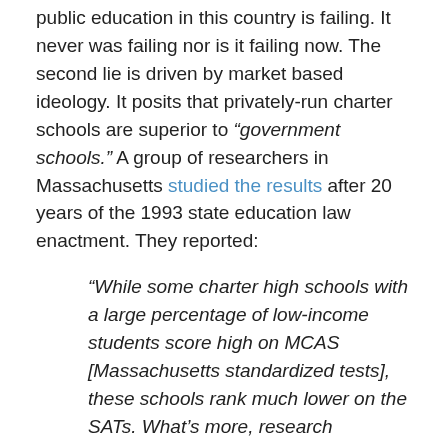public education in this country is failing. It never was failing nor is it failing now. The second lie is driven by market based ideology. It posits that privately-run charter schools are superior to "government schools." A group of researchers in Massachusetts studied the results after 20 years of the 1993 state education law enactment. They reported:
“While some charter high schools with a large percentage of low-income students score high on MCAS [Massachusetts standardized tests], these schools rank much lower on the SATs. What’s more, research indicates many students from high-scoring charter schools do not fare well in college, as measured by six-year college completion rates.”
Hopefully, a political party in the United States will also